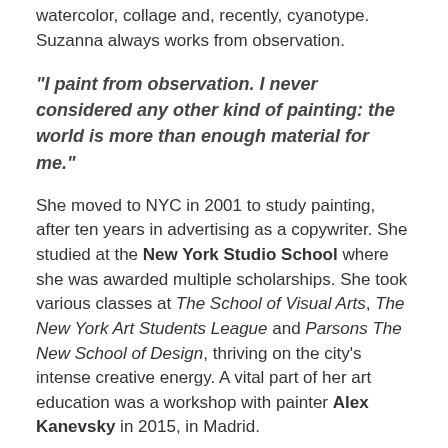watercolor, collage and, recently, cyanotype. Suzanna always works from observation.
“I paint from observation. I never considered any other kind of painting: the world is more than enough material for me.”
She moved to NYC in 2001 to study painting, after ten years in advertising as a copywriter. She studied at the New York Studio School where she was awarded multiple scholarships. She took various classes at The School of Visual Arts, The New York Art Students League and Parsons The New School of Design, thriving on the city’s intense creative energy. A vital part of her art education was a workshop with painter Alex Kanevsky in 2015, in Madrid.
Since 2019 she is a Guild Member of the Silvermine Art Center in New Canaan, Connecticut. In 2020 she was awarded the